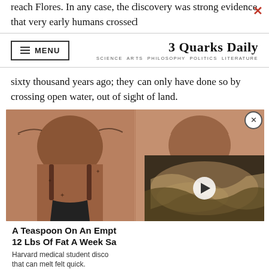reach Flores. In any case, the discovery was strong evidence that very early humans crossed
3 Quarks Daily — SCIENCE ARTS PHILOSOPHY POLITICS LITERATURE
sixty thousand years ago; they can only have done so by crossing open water, out of sight of land.
[Figure (photo): Advertisement showing before/after back photos of a woman with tattoos, partially overlaid by a video thumbnail of Jupiter with a play button]
A Teaspoon On An Empt 12 Lbs Of Fat A Week Sa Harvard medical student disco that can melt felt quick.